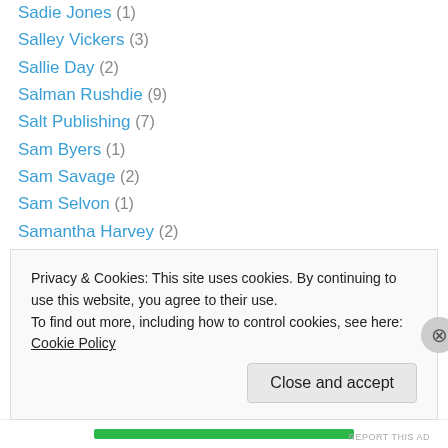Sadie Jones (1)
Salley Vickers (3)
Sallie Day (2)
Salman Rushdie (9)
Salt Publishing (7)
Sam Byers (1)
Sam Savage (2)
Sam Selvon (1)
Samantha Harvey (2)
Samantha Hunt (3)
Sandstone Press (1)
Sapphire (2)
Sara Gruen (1)
Sara Nelson (1)
Privacy & Cookies: This site uses cookies. By continuing to use this website, you agree to their use. To find out more, including how to control cookies, see here: Cookie Policy
Close and accept